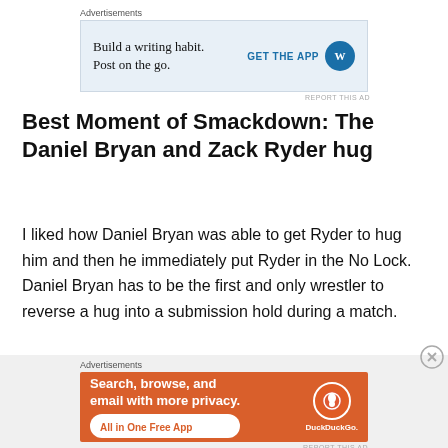[Figure (screenshot): Top advertisement banner: 'Build a writing habit. Post on the go.' with GET THE APP and WordPress logo, light blue background]
Best Moment of Smackdown: The Daniel Bryan and Zack Ryder hug
I liked how Daniel Bryan was able to get Ryder to hug him and then he immediately put Ryder in the No Lock. Daniel Bryan has to be the first and only wrestler to reverse a hug into a submission hold during a match.
[Figure (screenshot): Bottom advertisement: DuckDuckGo app ad - 'Search, browse, and email with more privacy. All in One Free App' on orange background with phone mockup]